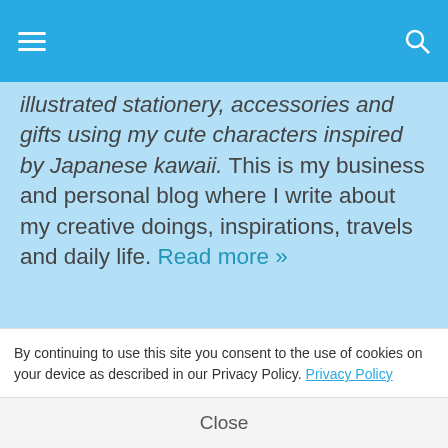☰  [search icon]
illustrated stationery, accessories and gifts using my cute characters inspired by Japanese kawaii. This is my business and personal blog where I write about my creative doings, inspirations, travels and daily life. Read more »
[Figure (infographic): Row of six social media icon buttons: Instagram (dark grey), Twitter (light blue), Facebook (dark blue), Pinterest (red), Tumblr (slate blue), RSS (orange)]
[Figure (infographic): Follow me on bloglovin' button with white background and border]
[Figure (infographic): Green teal button (partially visible)]
By continuing to use this site you consent to the use of cookies on your device as described in our Privacy Policy. Privacy Policy
Close
Join my mailing list for freebies, offers + news!